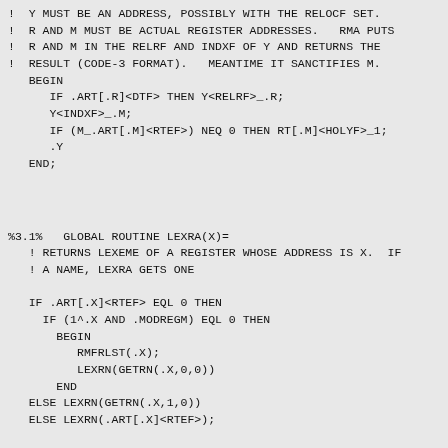!  Y MUST BE AN ADDRESS, POSSIBLY WITH THE RELOCF SET.
!  R AND M MUST BE ACTUAL REGISTER ADDRESSES.   RMA PUTS
!  R AND M IN THE RELRF AND INDXF OF Y AND RETURNS THE
!  RESULT (CODE-3 FORMAT).   MEANTIME IT SANCTIFIES M.
   BEGIN
      IF .ART[.R]<DTF> THEN Y<RELRF>_.R;
      Y<INDXF>_.M;
      IF (M_.ART[.M]<RTEF>) NEQ 0 THEN RT[.M]<HOLYF>_1;
      .Y
   END;
%3.1%   GLOBAL ROUTINE LEXRA(X)=
   ! RETURNS LEXEME OF A REGISTER WHOSE ADDRESS IS X.  I
   ! A NAME, LEXRA GETS ONE

   IF .ART[.X]<RTEF> EQL 0 THEN
     IF (1^.X AND .MODREGM) EQL 0 THEN
       BEGIN
          RMFRLST(.X);
          LEXRN(GETRN(.X,0,0))
       END
   ELSE LEXRN(GETRN(.X,1,0))
   ELSE LEXRN(.ART[.X]<RTEF>);